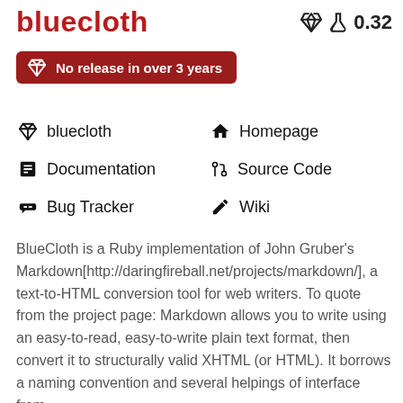bluecloth   🔬 0.32
No release in over 3 years
bluecloth   Homepage   Documentation   Source Code   Bug Tracker   Wiki
BlueCloth is a Ruby implementation of John Gruber's Markdown[http://daringfireball.net/projects/markdown/], a text-to-HTML conversion tool for web writers. To quote from the project page: Markdown allows you to write using an easy-to-read, easy-to-write plain text format, then convert it to structurally valid XHTML (or HTML). It borrows a naming convention and several helpings of interface from